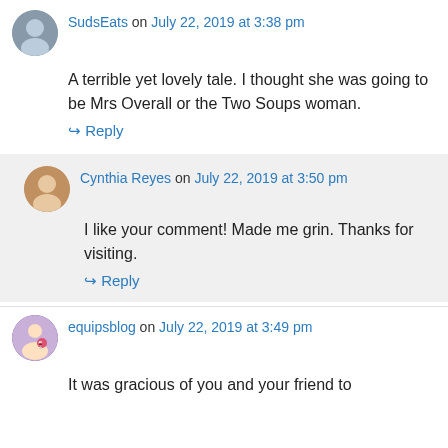SudsEats on July 22, 2019 at 3:38 pm
A terrible yet lovely tale. I thought she was going to be Mrs Overall or the Two Soups woman.
↪ Reply
Cynthia Reyes on July 22, 2019 at 3:50 pm
I like your comment! Made me grin. Thanks for visiting.
↪ Reply
equipsblog on July 22, 2019 at 3:49 pm
It was gracious of you and your friend to